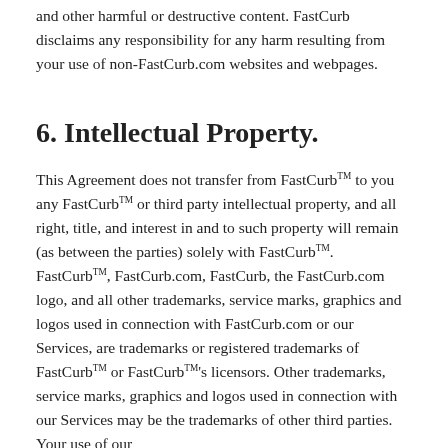and other harmful or destructive content. FastCurb disclaims any responsibility for any harm resulting from your use of non-FastCurb.com websites and webpages.
6. Intellectual Property.
This Agreement does not transfer from FastCurb™ to you any FastCurb™ or third party intellectual property, and all right, title, and interest in and to such property will remain (as between the parties) solely with FastCurb™. FastCurb™, FastCurb.com, FastCurb, the FastCurb.com logo, and all other trademarks, service marks, graphics and logos used in connection with FastCurb.com or our Services, are trademarks or registered trademarks of FastCurb™ or FastCurb™'s licensors. Other trademarks, service marks, graphics and logos used in connection with our Services may be the trademarks of other third parties. Your use of our